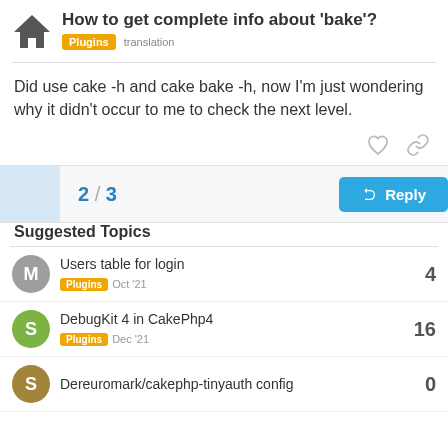How to get complete info about 'bake'?
Plugins  translation
Did use cake -h and cake bake -h, now I'm just wondering why it didn't occur to me to check the next level.
2 / 3
Suggested Topics
Users table for login
Plugins  Oct '21  4
DebugKit 4 in CakePhp4
Plugins  Dec '21  16
Dereuromark/cakephp-tinyauth config  0